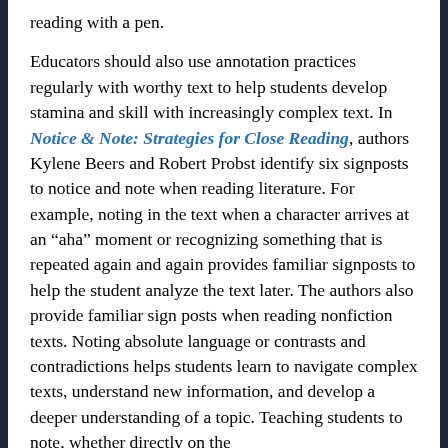reading with a pen.

Educators should also use annotation practices regularly with worthy text to help students develop stamina and skill with increasingly complex text. In Notice & Note: Strategies for Close Reading, authors Kylene Beers and Robert Probst identify six signposts to notice and note when reading literature. For example, noting in the text when a character arrives at an “aha” moment or recognizing something that is repeated again and again provides familiar signposts to help the student analyze the text later. The authors also provide familiar sign posts when reading nonfiction texts. Noting absolute language or contrasts and contradictions helps students learn to navigate complex texts, understand new information, and develop a deeper understanding of a topic. Teaching students to note, whether directly on the